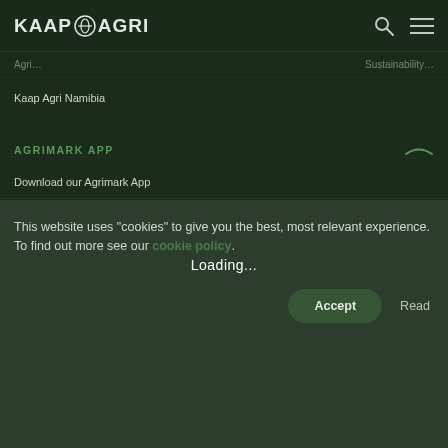KAAP AGRI
Kaap Agri Namibia
AGRIMARK APP
Download our Agrimark App
This website uses "cookies" to give you the best, most relevant experience. To find out more see our cookie policy.
Loading...
Accept
Read